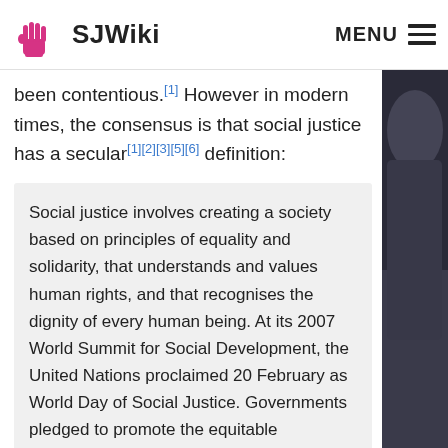SJWiki
been contentious.[1] However in modern times, the consensus is that social justice has a secular[1][2][3][5][6] definition:
Social justice involves creating a society based on principles of equality and solidarity, that understands and values human rights, and that recognises the dignity of every human being. At its 2007 World Summit for Social Development, the United Nations proclaimed 20 February as World Day of Social Justice. Governments pledged to promote the equitable distribution of income and greater access to resources through equity and equality and opportunity for all. The day aims to consolidate the efforts of the international community to eradicate poverty, and promote full employment and decent work, gender equity, rights of indigenous peoples and migrants, and access to social well-being and justice for all.[10]
[Figure (photo): Partial view of a person, partially cropped on the right side of the page]